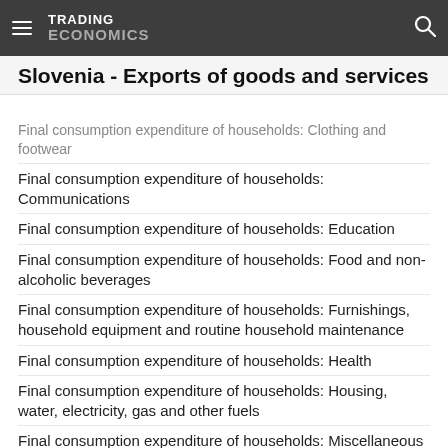TRADING ECONOMICS
Slovenia - Exports of goods and services
Final consumption expenditure of households: Clothing and footwear
Final consumption expenditure of households: Communications
Final consumption expenditure of households: Education
Final consumption expenditure of households: Food and non-alcoholic beverages
Final consumption expenditure of households: Furnishings, household equipment and routine household maintenance
Final consumption expenditure of households: Health
Final consumption expenditure of households: Housing, water, electricity, gas and other fuels
Final consumption expenditure of households: Miscellaneous goods and services
Final consumption expenditure of households: Recreation and culture
Final consumption expenditure of households: Restaurants and hotels